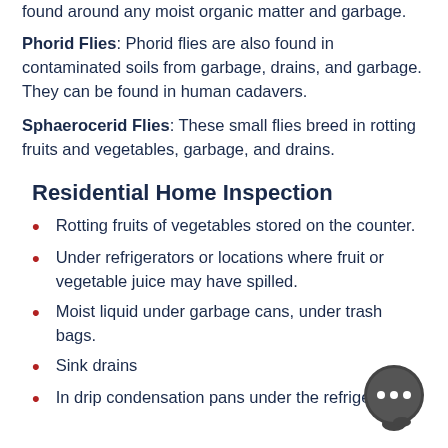Phorid Flies: Phorid flies are also found in contaminated soils from garbage, drains, and garbage. They can be found in human cadavers.
Sphaerocerid Flies: These small flies breed in rotting fruits and vegetables, garbage, and drains.
Residential Home Inspection
Rotting fruits of vegetables stored on the counter.
Under refrigerators or locations where fruit or vegetable juice may have spilled.
Moist liquid under garbage cans, under trash bags.
Sink drains
In drip condensation pans under the refrigerator